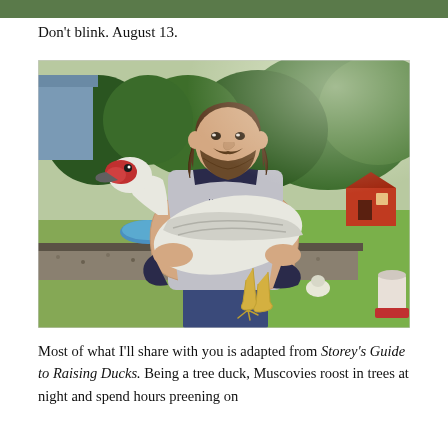Don't blink. August 13.
[Figure (photo): A man with a beard holding a large white and grey Muscovy duck with a red face, standing outdoors in a backyard with green trees, garden beds with gravel, a blue pool, a small red chicken coop, and a white poultry feeder visible in the background. Another duck is visible on the ground behind him.]
Most of what I'll share with you is adapted from Storey's Guide to Raising Ducks. Being a tree duck, Muscovies roost in trees at night and spend hours preening on